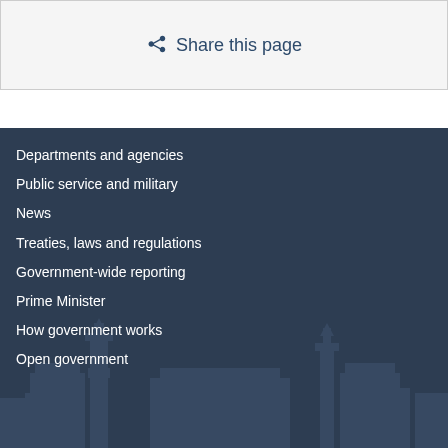Share this page
Departments and agencies
Public service and military
News
Treaties, laws and regulations
Government-wide reporting
Prime Minister
How government works
Open government